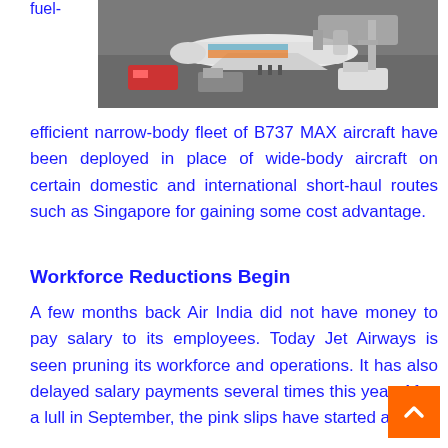fuel-
[Figure (photo): Aerial view of an airplane at an airport terminal being serviced by ground crew and fuel trucks]
efficient narrow-body fleet of B737 MAX aircraft have been deployed in place of wide-body aircraft on certain domestic and international short-haul routes such as Singapore for gaining some cost advantage.
Workforce Reductions Begin
A few months back Air India did not have money to pay salary to its employees. Today Jet Airways is seen pruning its workforce and operations. It has also delayed salary payments several times this year. After a lull in September, the pink slips have started again.